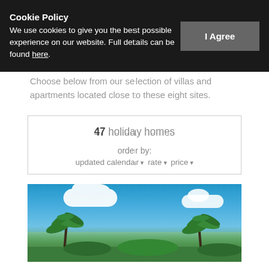Cookie Policy
We use cookies to give you the best possible experience on our website. Full details can be found here.
Choose below from our selection of villas and apartments located close to these eight sites.
47 holiday homes
order by:
updated calendar  rate  price
[Figure (photo): Outdoor photo showing a bright blue sky with white clouds and tropical palm trees and green foliage in the foreground]